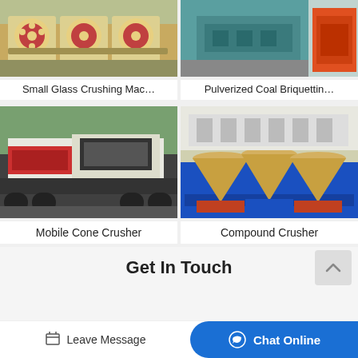[Figure (photo): Industrial jaw crushers - beige/cream colored crushing machines with red flywheel discs lined up in a factory floor]
Small Glass Crushing Mac…
[Figure (photo): Pulverized coal briquetting machine - blue/teal industrial roller press machine with orange equipment in background]
Pulverized Coal Briquettin…
[Figure (photo): Mobile cone crusher - large black and white tracked mobile crushing plant on a truck chassis]
Mobile Cone Crusher
[Figure (photo): Compound crusher - multiple large cream/beige cone crushers on blue and red metal frames in an industrial yard]
Compound Crusher
Get In Touch
Leave Message
Chat Online